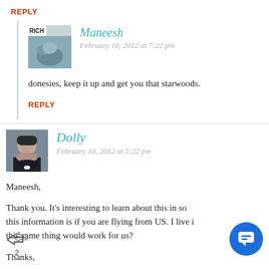Reply
[Figure (photo): Avatar image showing a magazine cover with 'RICH' text and elephant photo]
Maneesh
February 10, 2012 at 7:22 pm
donesies, keep it up and get you that starwoods.
Reply
[Figure (photo): Avatar photo of Dolly, a woman with dark hair]
Dolly
February 10, 2012 at 5:22 pm
Maneesh,
Thank you. It’s interesting to learn about this in so this information is if you are flying from US. I live i this same thing would work for us?
Thanks,